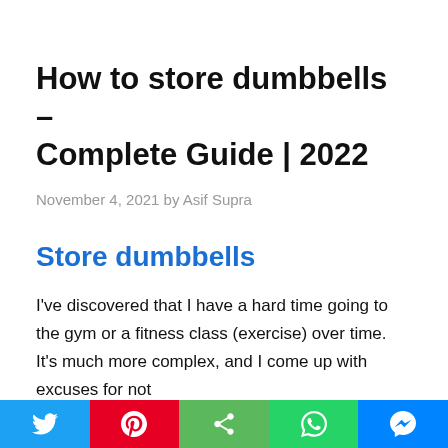How to store dumbbells – Complete Guide | 2022
November 4, 2021 by Asif Supra
Store dumbbells
I've discovered that I have a hard time going to the gym or a fitness class (exercise) over time. It's much more complex, and I come up with excuses for not